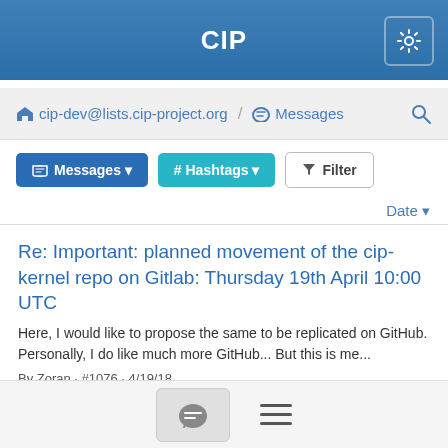CIP
cip-dev@lists.cip-project.org / Messages
Messages  # Hashtags  Filter
Date
Re: Important: planned movement of the cip-kernel repo on Gitlab: Thursday 19th April 10:00 UTC
Here, I would like to propose the same to be replicated on GitHub. Personally, I do like much more GitHub... But this is me...
By Zoran · #1076 · 4/19/18
Minutes: Re: cip-dev IRC meeting agenda: week 16